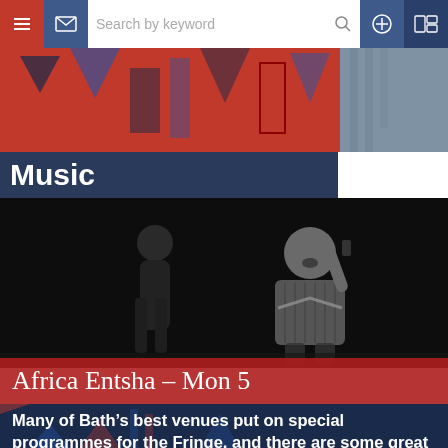Search by keyword
Music
[Figure (photo): Black and white performance photo of two people on stage, one man in a patterned shirt holding a phone to his ear and singing expressively]
Africa Entsha – Mon 5
Many of Bath's best venues put on special programmes for the Fringe, and there are some great one-off shows too.